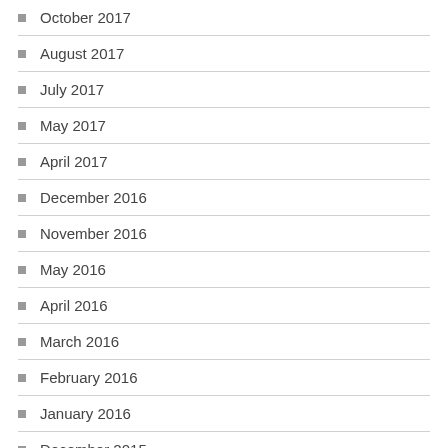October 2017
August 2017
July 2017
May 2017
April 2017
December 2016
November 2016
May 2016
April 2016
March 2016
February 2016
January 2016
December 2015
November 2015
October 2015